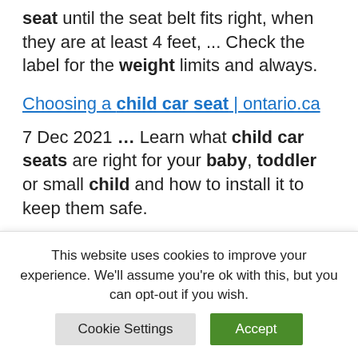seat until the seat belt fits right, when they are at least 4 feet, ... Check the label for the weight limits and always.
Choosing a child car seat | ontario.ca
7 Dec 2021 ... Learn what child car seats are right for your baby, toddler or small child and how to install it to keep them safe.
Harness or Booster: When to Make the
This website uses cookies to improve your experience. We'll assume you're ok with this, but you can opt-out if you wish.